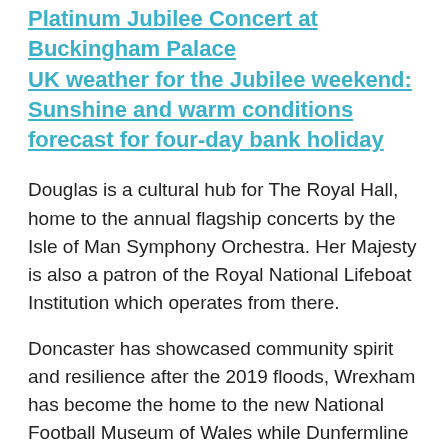Platinum Jubilee Concert at Buckingham Palace
UK weather for the Jubilee weekend: Sunshine and warm conditions forecast for four-day bank holiday
Douglas is a cultural hub for The Royal Hall, home to the annual flagship concerts by the Isle of Man Symphony Orchestra. Her Majesty is also a patron of the Royal National Lifeboat Institution which operates from there.
Doncaster has showcased community spirit and resilience after the 2019 floods, Wrexham has become the home to the new National Football Museum of Wales while Dunfermline attracted 30,000 local people to their firework display and 10,000 to their Christmas light event.
Bangor became a key site for allied forces during the Second World War, Colchester is Britain's first recorded settlement and its first capital, while Milton Keynes's...